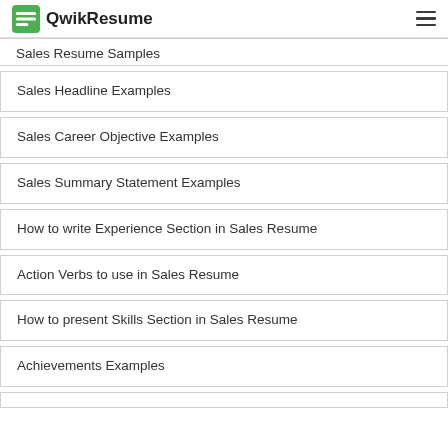QwikResume
Sales Resume Samples
Sales Headline Examples
Sales Career Objective Examples
Sales Summary Statement Examples
How to write Experience Section in Sales Resume
Action Verbs to use in Sales Resume
How to present Skills Section in Sales Resume
Achievements Examples